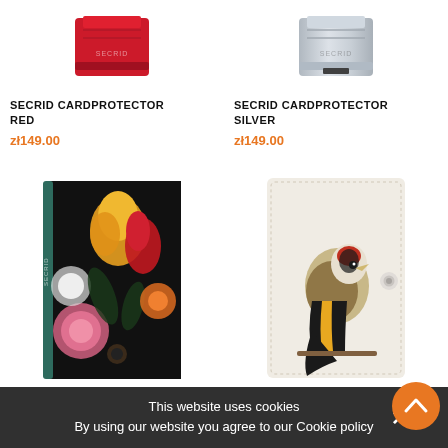[Figure (photo): Red Secrid card protector wallet, top portion visible, red metallic.]
[Figure (photo): Silver Secrid card protector wallet, top portion visible, silver metallic.]
SECRID CARDPROTECTOR RED
zł149.00
SECRID CARDPROTECTOR SILVER
zł149.00
[Figure (photo): Secrid miniwallet with floral art print - roses and tulips dark background.]
[Figure (photo): Secrid miniwallet with goldfinch bird art print on white/cream background.]
This website uses cookies
By using our website you agree to our Cookie policy